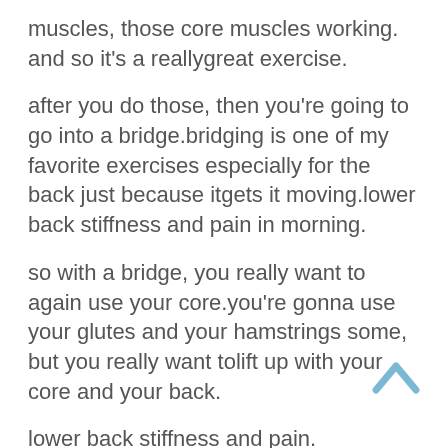muscles, those core muscles working. and so it's a reallygreat exercise.
after you do those, then you're going to go into a bridge.bridging is one of my favorite exercises especially for the back just because itgets it moving.lower back stiffness and pain in morning.
so with a bridge, you really want to again use your core.you're gonna use your glutes and your hamstrings some,
 but you really want tolift up with your core and your back.
lower back stiffness and pain.
 and you're gonna kind of roll your back uplike one segment at a time.
you don't have to stop at each segment, but